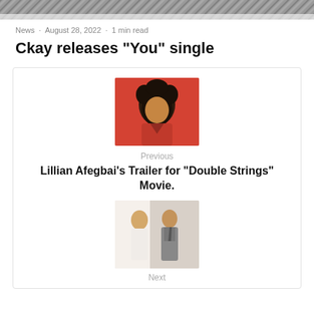[Figure (photo): Top cropped photo header image, black and white or dark tones]
News · August 28, 2022 · 1 min read
Ckay releases “You” single
[Figure (photo): Thumbnail photo of Lillian Afegbai in red outfit with curly hair]
Previous
Lillian Afegbai’s Trailer for “Double Strings” Movie.
[Figure (photo): Thumbnail photo for next article showing two people]
Next